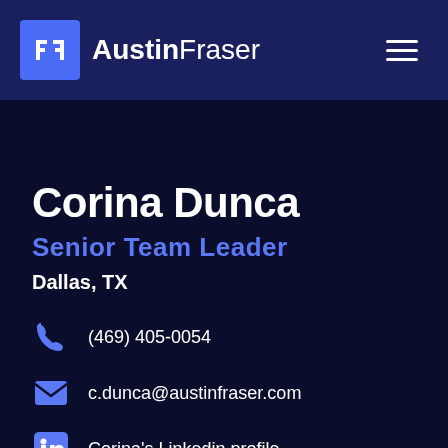Austin Fraser
Corina Dunca
Senior Team Leader
Dallas, TX
(469) 405-0054
c.dunca@austinfraser.com
Corina's Linkedin profile